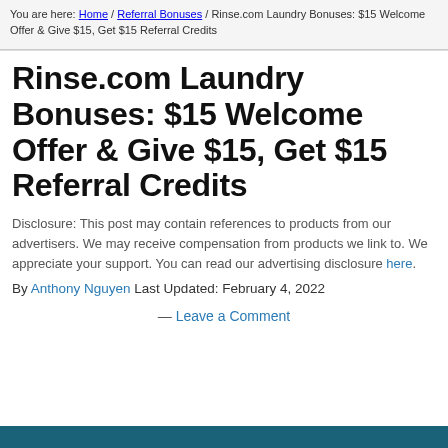You are here: Home / Referral Bonuses / Rinse.com Laundry Bonuses: $15 Welcome Offer & Give $15, Get $15 Referral Credits
Rinse.com Laundry Bonuses: $15 Welcome Offer & Give $15, Get $15 Referral Credits
Disclosure: This post may contain references to products from our advertisers. We may receive compensation from products we link to. We appreciate your support. You can read our advertising disclosure here.
By Anthony Nguyen Last Updated: February 4, 2022
— Leave a Comment